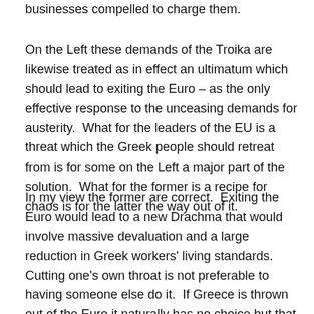businesses compelled to charge them.
On the Left these demands of the Troika are likewise treated as in effect an ultimatum which should lead to exiting the Euro – as the only effective response to the unceasing demands for austerity.  What for the leaders of the EU is a threat which the Greek people should retreat from is for some on the Left a major part of the solution.  What for the former is a recipe for chaos is for the latter the way out of it.
In my view the former are correct.  Exiting the Euro would lead to a new Drachma that would involve massive devaluation and a large reduction in Greek workers' living standards.  Cutting one's own throat is not preferable to having someone else do it.  If Greece is thrown out of the Euro it naturally has no choice but that is not a choice it should itself make.